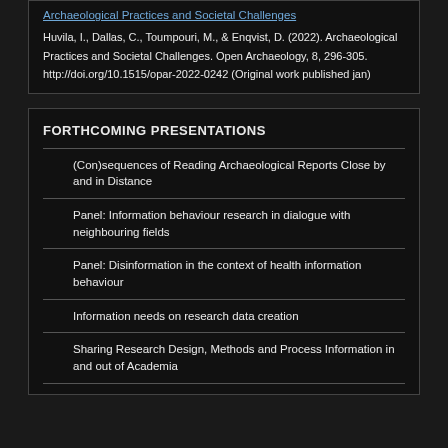Archaeological Practices and Societal Challenges
Huvila, I., Dallas, C., Toumpouri, M., & Enqvist, D. (2022). Archaeological Practices and Societal Challenges. Open Archaeology, 8, 296-305. http://doi.org/10.1515/opar-2022-0242 (Original work published jan)
FORTHCOMING PRESENTATIONS
(Con)sequences of Reading Archaeological Reports Close by and in Distance
Panel: Information behaviour research in dialogue with neighbouring fields
Panel: Disinformation in the context of health information behaviour
Information needs on research data creation
Sharing Research Design, Methods and Process Information in and out of Academia